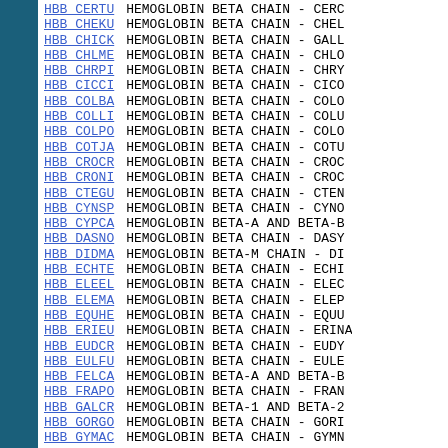| Entry | Description |
| --- | --- |
| HBB_CERTU | HEMOGLOBIN BETA CHAIN - CERC... |
| HBB_CHEKU | HEMOGLOBIN BETA CHAIN - CHEL... |
| HBB_CHICK | HEMOGLOBIN BETA CHAIN - GALL... |
| HBB_CHLME | HEMOGLOBIN BETA CHAIN - CHLO... |
| HBB_CHRPI | HEMOGLOBIN BETA CHAIN - CHRY... |
| HBB_CICCI | HEMOGLOBIN BETA CHAIN - CICO... |
| HBB_COLBA | HEMOGLOBIN BETA CHAIN - COLO... |
| HBB_COLLI | HEMOGLOBIN BETA CHAIN - COLU... |
| HBB_COLPO | HEMOGLOBIN BETA CHAIN - COLO... |
| HBB_COTJA | HEMOGLOBIN BETA CHAIN - COTU... |
| HBB_CROCR | HEMOGLOBIN BETA CHAIN - CROC... |
| HBB_CRONI | HEMOGLOBIN BETA CHAIN - CROC... |
| HBB_CTEGU | HEMOGLOBIN BETA CHAIN - CTEN... |
| HBB_CYNSP | HEMOGLOBIN BETA CHAIN - CYNO... |
| HBB_CYPCA | HEMOGLOBIN BETA-A AND BETA-B... |
| HBB_DASNO | HEMOGLOBIN BETA CHAIN - DASY... |
| HBB_DIDMA | HEMOGLOBIN BETA-M CHAIN - DI... |
| HBB_ECHTE | HEMOGLOBIN BETA CHAIN - ECHI... |
| HBB_ELEEL | HEMOGLOBIN BETA CHAIN - ELEC... |
| HBB_ELEMA | HEMOGLOBIN BETA CHAIN - ELEP... |
| HBB_EQUHE | HEMOGLOBIN BETA CHAIN - EQUU... |
| HBB_ERIEU | HEMOGLOBIN BETA CHAIN - ERIN... |
| HBB_EUDCR | HEMOGLOBIN BETA CHAIN - EUDY... |
| HBB_EULFU | HEMOGLOBIN BETA CHAIN - EULE... |
| HBB_FELCA | HEMOGLOBIN BETA-A AND BETA-B... |
| HBB_FRAPO | HEMOGLOBIN BETA CHAIN - FRAN... |
| HBB_GALCR | HEMOGLOBIN BETA-1 AND BETA-2... |
| HBB_GORGO | HEMOGLOBIN BETA CHAIN - GORI... |
| HBB_GYMAC | HEMOGLOBIN BETA CHAIN - GYMN... |
| HBB_HIPAM | HEMOGLOBIN BETA CHAIN - HIPP... |